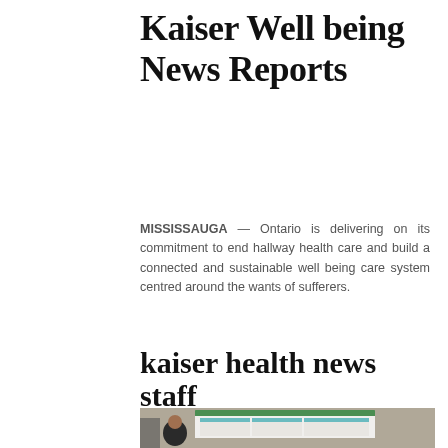Kaiser Well being News Reports
MISSISSAUGA — Ontario is delivering on its commitment to end hallway health care and build a connected and sustainable well being care system centred around the wants of sufferers.
kaiser health news staff
[Figure (photo): A woman in a black jacket standing in front of a research poster presentation about Pregnancy Risk Assessment Monitoring System, displayed at a conference.]